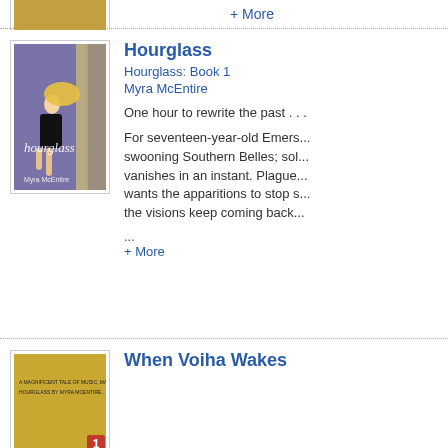+ More
[Figure (illustration): Book cover thumbnail (partially visible at top)]
[Figure (illustration): Book cover for 'Hourglass' by Myra McEntire — woman in black dress with blonde hair blowing, purple/grey background]
Hourglass
Hourglass: Book 1
Myra McEntire
One hour to rewrite the past . . .
For seventeen-year-old Emers... swooning Southern Belles; sol... vanishes in an instant. Plague... wants the apparitions to stop s... the visions keep coming back...
...
+ More
[Figure (illustration): Book cover thumbnail for 'When Voiha Wakes' (partially visible at bottom)]
When Voiha Wakes